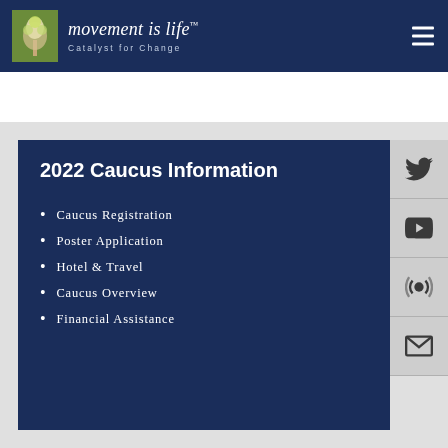movement is life™ — Catalyst for Change
2022 Caucus Information
Caucus Registration
Poster Application
Hotel & Travel
Caucus Overview
Financial Assistance